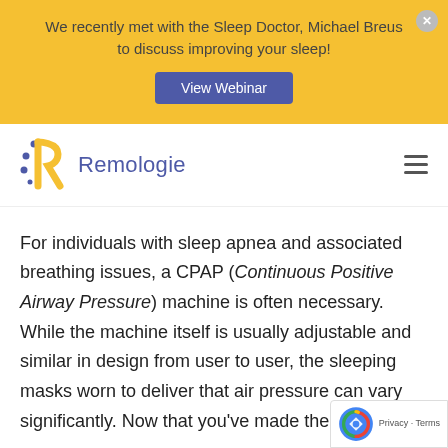We recently met with the Sleep Doctor, Michael Breus to discuss improving your sleep!
View Webinar
[Figure (logo): Remologie logo with stylized R in yellow and blue dots, and wordmark 'Remologie' in blue]
For individuals with sleep apnea and associated breathing issues, a CPAP (Continuous Positive Airway Pressure) machine is often necessary. While the machine itself is usually adjustable and similar in design from user to user, the sleeping masks worn to deliver that air pressure can vary significantly. Now that you've made the smart